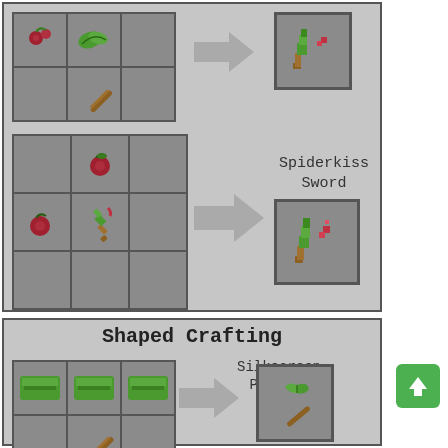[Figure (screenshot): Minecraft-style crafting recipe panel showing Spiderkiss Sword recipe. A 3x3 crafting grid with items in various cells, an arrow pointing right, and the result item in a box. Recipe uses red berries and a vine-wrapped stick.]
Spiderkiss Sword
[Figure (screenshot): Minecraft-style crafting recipe panel showing Shaped Crafting label and Silkscreen Pickaxe recipe. A 3x3 crafting grid with green slabs in top row and a stick in middle row, an arrow pointing right, and the result pickaxe item in a box.]
Shaped Crafting
Silkscreen Pickaxe